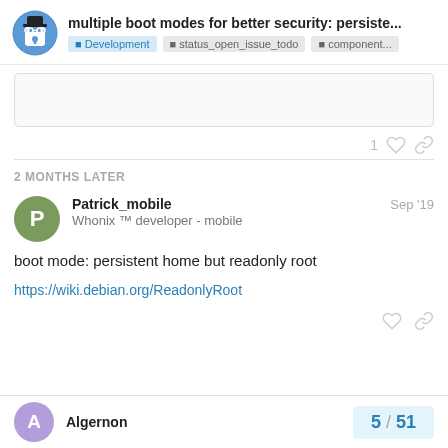multiple boot modes for better security: persiste... | Development | status_open_issue_todo | component...
boot mode: persistent home but readonly root
https://wiki.debian.org/ReadonlyRoot
Patrick_mobile — Sep '19 — Whonix ™ developer - mobile
2 MONTHS LATER
Algernon  5 / 51